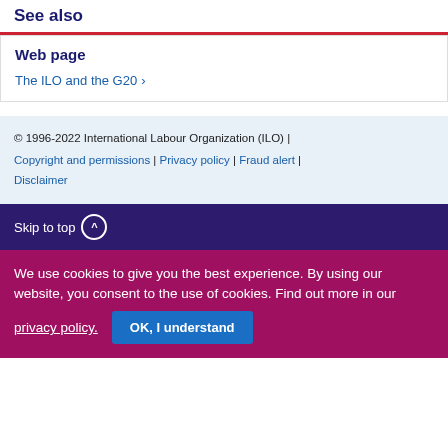See also
Web page
The ILO and the G20 >
© 1996-2022 International Labour Organization (ILO) | Copyright and permissions | Privacy policy | Fraud alert | Disclaimer
Skip to top ^
We use cookies to give you the best experience. By using our website, you consent to the use of cookies. Find out more in our privacy policy. OK, I understand